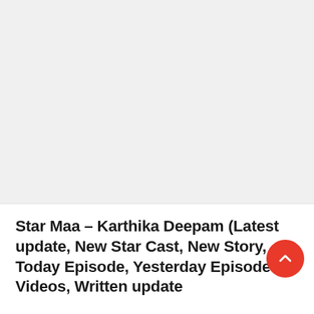Star Maa – Karthika Deepam (Latest update, New Star Cast, New Story, Today Episode, Yesterday Episode Videos, Written update